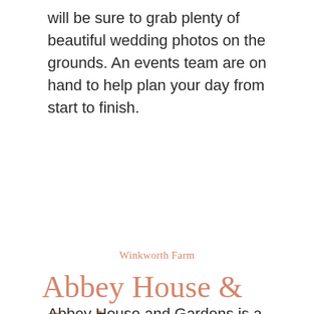will be sure to grab plenty of beautiful wedding photos on the grounds. An events team are on hand to help plan your day from start to finish.
Winkworth Farm
Abbey House & Gardens
Abbey House and Gardens is a truly unique and